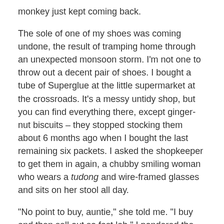monkey just kept coming back.
The sole of one of my shoes was coming undone, the result of tramping home through an unexpected monsoon storm. I'm not one to throw out a decent pair of shoes. I bought a tube of Superglue at the little supermarket at the crossroads. It's a messy untidy shop, but you can find everything there, except ginger-nut biscuits – they stopped stocking them about 6 months ago when I bought the last remaining six packets. I asked the shopkeeper to get them in again, a chubby smiling woman who wears a tudong and wire-framed glasses and sits on her stool all day.
“No point to buy, auntie,” she told me. “I buy and then sell out so fast lah.” I pondered the logic of this for a moment and shook my head, paid for the superglue and left.
The superglue was on the kitchen counter, still in its outsized plastic and cardboard wrapping. I mean, so much packaging for just one tiny tube of glue? Madness. I hadn’t gotten around